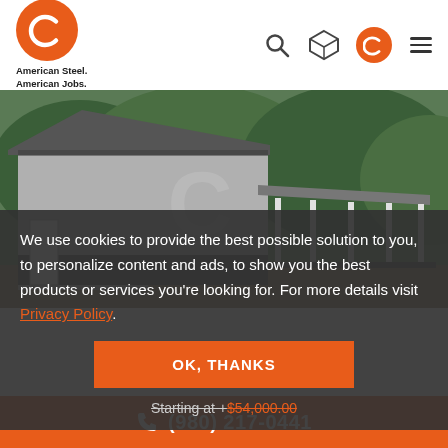[Figure (logo): American Steel Carports logo - orange circle with white C symbol, with text 'American Steel. American Jobs.' below]
[Figure (photo): A large gray metal barn/carport building with a lean-to extension, surrounded by green trees]
We use cookies to provide the best possible solution to you, to personalize content and ads, to show you the best products or services you’re looking for. For more details visit Privacy Policy.
OK, THANKS
Starting at +$54,000.00
(980) 217-0441